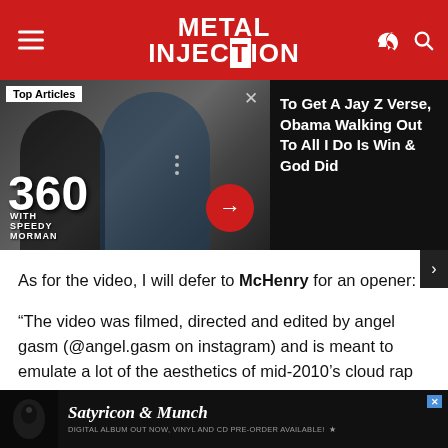METAL INJECTION
[Figure (screenshot): Carousel banner showing two men (360 with Speedy Morman show thumbnail) on the left and article headline on the right: 'To Get A Jay Z Verse, Obama Walking Out To All I Do Is Win & God Did'. Top Articles label visible. Red circle arrow button overlay.]
As for the video, I will defer to McHenry for an opener:
“The video was filmed, directed and edited by angel gasm (@angel.gasm on instagram) and is meant to emulate a lot of the aesthetics of mid-2010’s cloud rap in a modern cybergrind context. Those kinds of videos were super influential for me crafting my vision for future Blind Equation music videos and angel gasm did an amazing job ac
[Figure (screenshot): Bottom advertisement banner for Satyricon & Munch. Text: 'Satyricon & Munch' in large italic font. Subtext: 'DIGITAL ALBUM OUT NOW, VINYL AND CD PRE-ORDER AVAILABLE!']